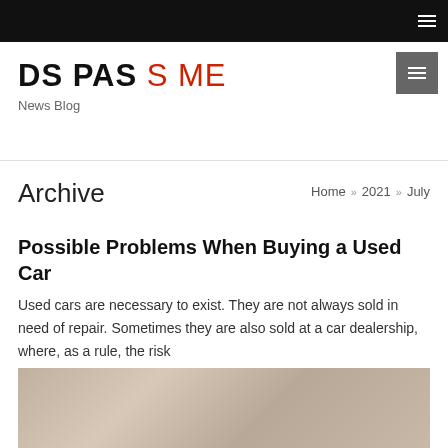DS PAS S ME — News Blog
Archive
Home » 2021 » July
Possible Problems When Buying a Used Car
Used cars are necessary to exist. They are not always sold in need of repair. Sometimes they are also sold at a car dealership, where, as a rule, the risk
[Figure (photo): Bottom portion of an image, likely showing a car or automotive scene, partially visible at the bottom of the page]